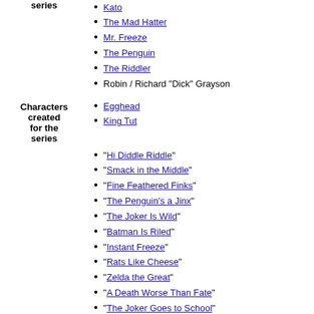Kato
The Mad Hatter
Mr. Freeze
The Penguin
The Riddler
Robin / Richard "Dick" Grayson
Characters created for the series
Egghead
King Tut
"Hi Diddle Riddle"
"Smack in the Middle"
"Fine Feathered Finks"
"The Penguin's a Jinx"
"The Joker Is Wild"
"Batman Is Riled"
"Instant Freeze"
"Rats Like Cheese"
"Zelda the Great"
"A Death Worse Than Fate"
"The Joker Goes to School"
"He Meets His Match, The Grisly Ghoul"
"True or False-Face"
"Holy Rat Race"